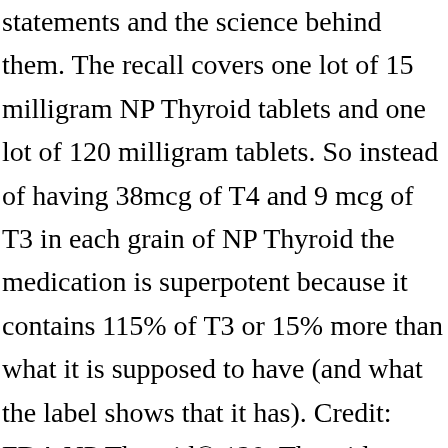statements and the science behind them. The recall covers one lot of 15 milligram NP Thyroid tablets and one lot of 120 milligram tablets. So instead of having 38mcg of T4 and 9 mcg of T3 in each grain of NP Thyroid the medication is superpotent because it contains 115% of T3 or 15% more than what it is supposed to have (and what the label shows that it has). Credit: FDA NP Thyroid® 120, Thyroid Tablets, USP, … It also poses a risk to pregnant women and their fetuses. Credit: FDA NP Thyroid® 120, Thyroid Tablets, USP, … NDT medications contain a combination of both T4 and